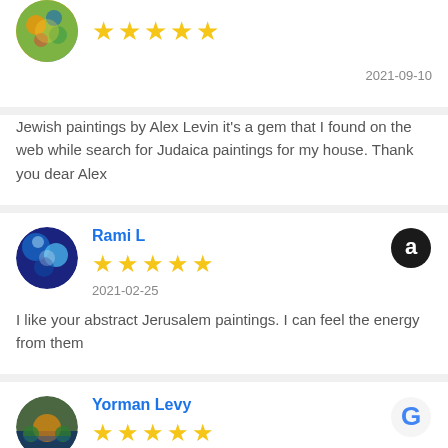[Figure (other): Partial review card top: avatar image (colorful painting circular), 5 yellow stars, date 2021-09-10, review text about Jewish paintings by Alex Levin]
Jewish paintings by Alex Levin it's a gem that I found on the web while search for Judaica paintings for my house. Thank you dear Alex
[Figure (other): Review card for Rami L with blue abstract painting avatar, 5 yellow stars, date 2021-02-25, Amazon logo badge]
I like your abstract Jerusalem paintings. I can feel the energy from them
[Figure (other): Review card for Yorman Levy with landscape painting avatar, 5 yellow stars, date 2021-09-08, Google logo badge]